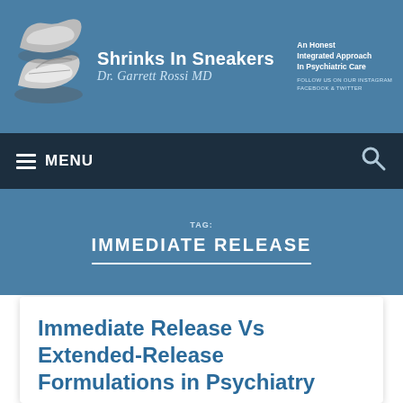Shrinks In Sneakers | Dr. Garrett Rossi MD | An Honest Integrated Approach In Psychiatric Care | FOLLOW US ON OUR INSTAGRAM FACEBOOK & TWITTER
≡ MENU
TAG: IMMEDIATE RELEASE
Immediate Release Vs Extended-Release Formulations in Psychiatry